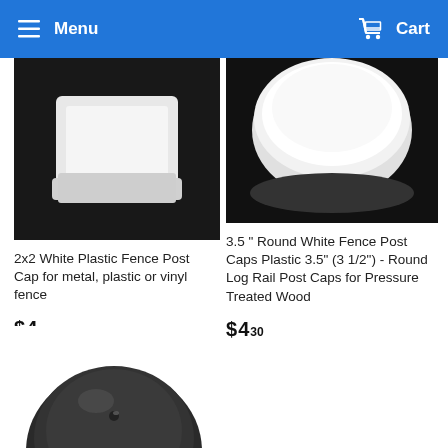Menu  Cart
[Figure (photo): 2x2 white plastic fence post cap on black background]
2x2 White Plastic Fence Post Cap for metal, plastic or vinyl fence
$ 4 99
[Figure (photo): 3.5 inch round white fence post cap on black background]
3.5 " Round White Fence Post Caps Plastic 3.5" (3 1/2") - Round Log Rail Post Caps for Pressure Treated Wood
$ 4 30
[Figure (photo): Dark/black round fence post cap, partially visible at bottom of page]